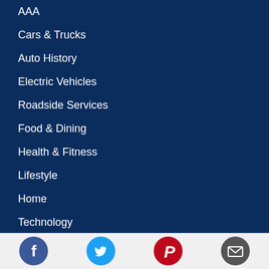AAA
Cars & Trucks
Auto History
Electric Vehicles
Roadside Services
Food & Dining
Health & Fitness
Lifestyle
Home
Technology
Photography
Podcast Pulse
[Figure (other): Social media icons row: Facebook (blue circle with f), Twitter (cyan circle with bird), Pinterest (red circle with P), Email (dark gray circle with envelope)]